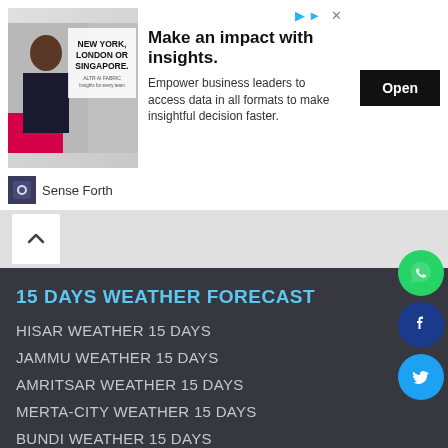[Figure (screenshot): Advertisement banner: image of a person with text 'NEW YORK, LONDON OR SINGAPORE.' on left; headline 'Make an impact with insights.' with body copy and Open button; Sense Forth logo and brand name at bottom.]
HISAR WEATHER 15 DAYS
JAMMU WEATHER 15 DAYS
AMRITSAR WEATHER 15 DAYS
MERTA-CITY WEATHER 15 DAYS
BUNDI WEATHER 15 DAYS
NOHAR WEATHER 15 DAYS
ROHRU WEATHER 15 DAYS